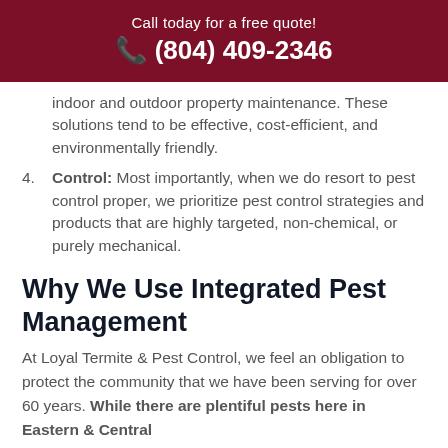Call today for a free quote! ☎ (804) 409-2346
indoor and outdoor property maintenance. These solutions tend to be effective, cost-efficient, and environmentally friendly.
4. Control: Most importantly, when we do resort to pest control proper, we prioritize pest control strategies and products that are highly targeted, non-chemical, or purely mechanical.
Why We Use Integrated Pest Management
At Loyal Termite & Pest Control, we feel an obligation to protect the community that we have been serving for over 60 years. While there are plentiful pests here in Eastern & Central